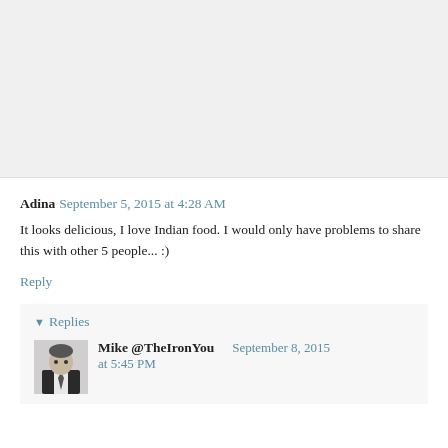[Figure (other): Light gray blank area at top of page, likely an image placeholder or cropped image region]
Adina September 5, 2015 at 4:28 AM
It looks delicious, I love Indian food. I would only have problems to share this with other 5 people... :)
Reply
▾ Replies
Mike @TheIronYou  September 8, 2015 at 5:45 PM